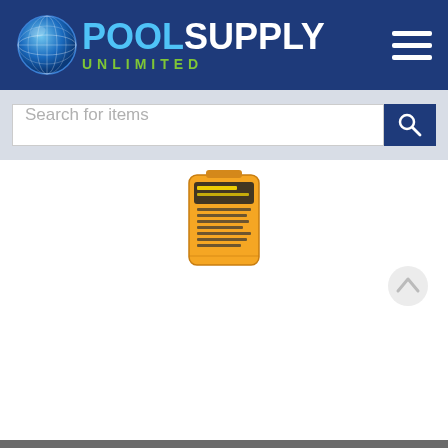[Figure (logo): Pool Supply Unlimited logo with globe icon, blue and white POOL SUPPLY text, green UNLIMITED text]
[Figure (screenshot): Search bar with 'Search for items' placeholder and blue search button with magnifying glass icon]
[Figure (photo): Product image: orange bag of pool chemicals]
We use cookies to enhance your experience. By continuing to visit this site you agree to our use of cookies. More info
Got it!